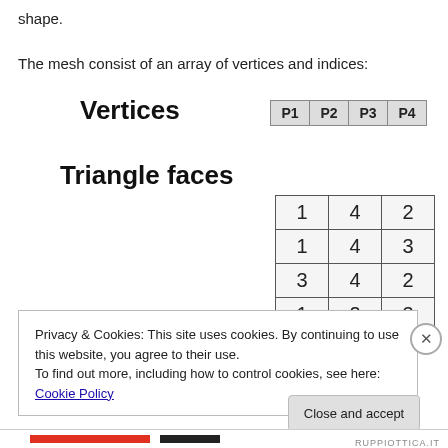shape.
The mesh consist of an array of vertices and indices:
Vertices
| P1 | P2 | P3 | P4 |
| --- | --- | --- | --- |
Triangle faces
| 1 | 4 | 2 |
| 1 | 4 | 3 |
| 3 | 4 | 2 |
| 1 | 2 | 3 |
Privacy & Cookies: This site uses cookies. By continuing to use this website, you agree to their use.
To find out more, including how to control cookies, see here: Cookie Policy
Close and accept